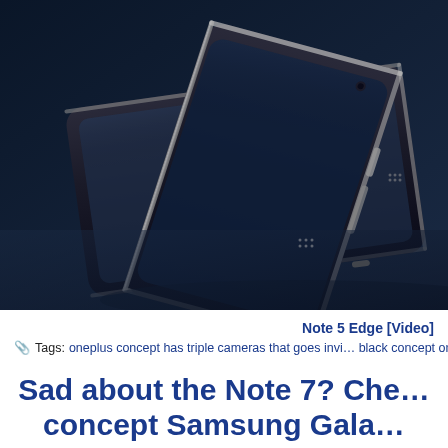[Figure (photo): Close-up photo of dark-colored smartphones with glossy black glass backs and silver metallic edges, arranged on a reflective dark surface. The phones appear to be Samsung Galaxy concept phones with curved edges.]
Note 5 Edge [Video]
Tags: oneplus concept has triple cameras that goes invi... black concept one its stunning latest samsung galaxy concept...
Sad about the Note 7? Che... concept Gala...